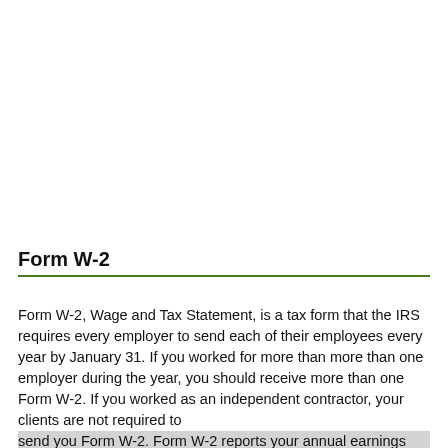Form W-2
Form W-2, Wage and Tax Statement, is a tax form that the IRS requires every employer to send each of their employees every year by January 31. If you worked for more than more than one employer during the year, you should receive more than one Form W-2. If you worked as an independent contractor, your clients are not required to send you Form W-2. Form W-2 reports your annual earnings and the amount of taxes withheld in each category -- federal, state, local,